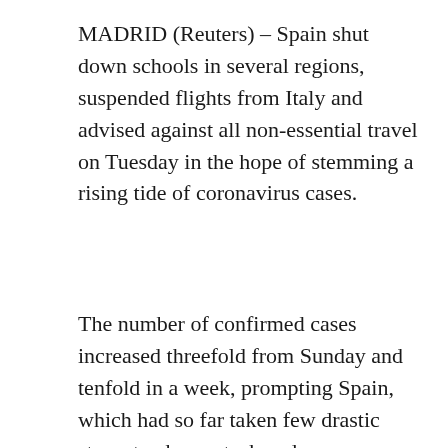MADRID (Reuters) – Spain shut down schools in several regions, suspended flights from Italy and advised against all non-essential travel on Tuesday in the hope of stemming a rising tide of coronavirus cases.
The number of confirmed cases increased threefold from Sunday and tenfold in a week, prompting Spain, which had so far taken few drastic steps, to change tack and announce a slew